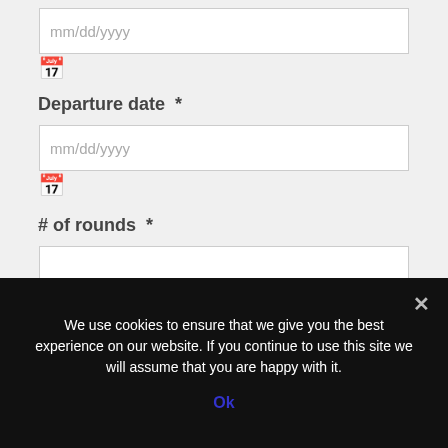[Figure (screenshot): Date input field with placeholder mm/dd/yyyy and calendar icon below]
Departure date  *
[Figure (screenshot): Date input field with placeholder mm/dd/yyyy and calendar icon below]
# of rounds  *
[Figure (screenshot): Empty text input field for number of rounds]
# of golfers  *
We use cookies to ensure that we give you the best experience on our website. If you continue to use this site we will assume that you are happy with it.
Ok